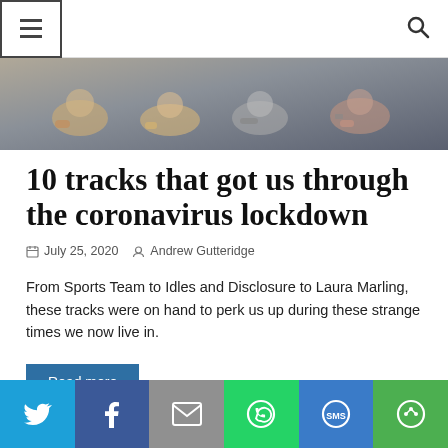Navigation menu and search icons
[Figure (photo): Hero image showing people sitting together, possibly holding instruments or devices, partial body view with hands visible]
10 tracks that got us through the coronavirus lockdown
July 25, 2020  Andrew Gutteridge
From Sports Team to Idles and Disclosure to Laura Marling, these tracks were on hand to perk us up during these strange times we now live in.
Read more
Social sharing bar: Twitter, Facebook, Email, WhatsApp, SMS, Share